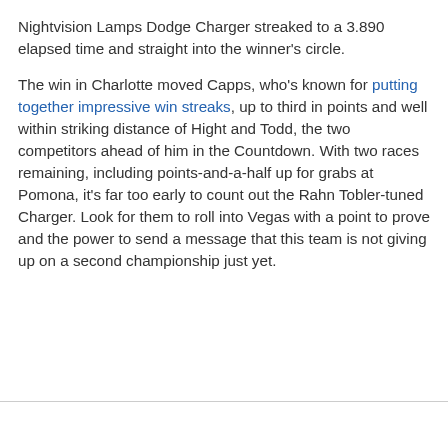Nightvision Lamps Dodge Charger streaked to a 3.890 elapsed time and straight into the winner's circle.
The win in Charlotte moved Capps, who's known for putting together impressive win streaks, up to third in points and well within striking distance of Hight and Todd, the two competitors ahead of him in the Countdown. With two races remaining, including points-and-a-half up for grabs at Pomona, it's far too early to count out the Rahn Tobler-tuned Charger. Look for them to roll into Vegas with a point to prove and the power to send a message that this team is not giving up on a second championship just yet.